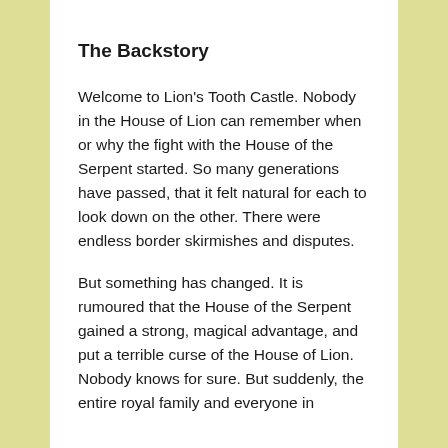The Backstory
Welcome to Lion's Tooth Castle. Nobody in the House of Lion can remember when or why the fight with the House of the Serpent started. So many generations have passed, that it felt natural for each to look down on the other. There were endless border skirmishes and disputes.
But something has changed. It is rumoured that the House of the Serpent gained a strong, magical advantage, and put a terrible curse of the House of Lion. Nobody knows for sure. But suddenly, the entire royal family and everyone in